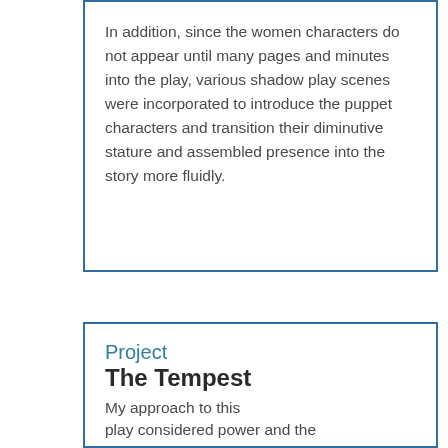In addition, since the women characters do not appear until many pages and minutes into the play, various shadow play scenes were incorporated to introduce the puppet characters and transition their diminutive stature and assembled presence into the story more fluidly.
Project
The Tempest
My approach to this play considered power and the